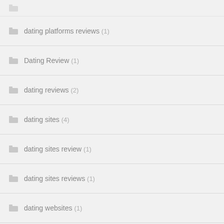dating platforms reviews (1)
Dating Review (1)
dating reviews (2)
dating sites (4)
dating sites review (1)
dating sites reviews (1)
dating websites (1)
datinghearts.org online-dating-free (1)
datingservicesonline.net dating-free-site-online (1)